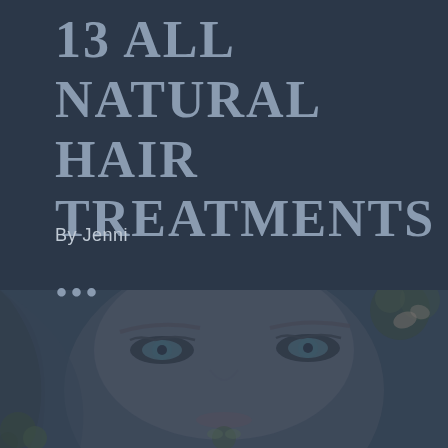13 ALL NATURAL HAIR TREATMENTS ...
By Jenni
[Figure (photo): Close-up photo of a blonde woman's face with blue eyes and flowers in her hair, overlaid with a dark blue-gray tint. The image is heavily desaturated and shows the upper portion of a woman's face looking slightly to one side.]